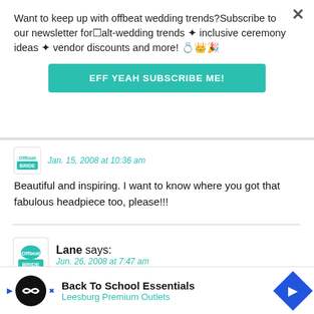Want to keep up with offbeat wedding trends?Subscribe to our newsletter for alt-wedding trends ✦ inclusive ceremony ideas ✦ vendor discounts and more! 💍👑🎉
EFF YEAH SUBSCRIBE ME!
Jan. 15, 2008 at 10:36 am
Beautiful and inspiring. I want to know where you got that fabulous headpiece too, please!!!
Lane says:
Jun. 26, 2008 at 7:47 am
what a...
Back To School Essentials Leesburg Premium Outlets